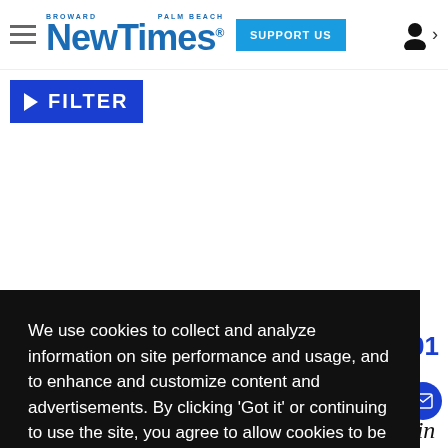Broward Palm Beach New Times — SUPPORT US
▶ FILTER
We use cookies to collect and analyze information on site performance and usage, and to enhance and customize content and advertisements. By clicking 'Got it' or continuing to use the site, you agree to allow cookies to be placed. To find out more, visit our cookies policy and our privacy policy.
Got it!
/// 2001
smell nd. In winter Latin-American and Haitian teams in